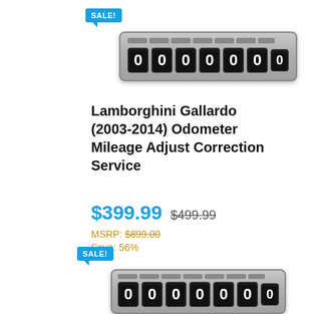[Figure (illustration): SALE badge above an odometer/mileage counter showing all zeros (0000000), top product listing]
Lamborghini Gallardo (2003-2014) Odometer Mileage Adjust Correction Service
$399.99  $499.99
MSRP: $899.00
Save: 56%
[Figure (illustration): SALE badge above an odometer/mileage counter showing all zeros (0000000), bottom product listing]